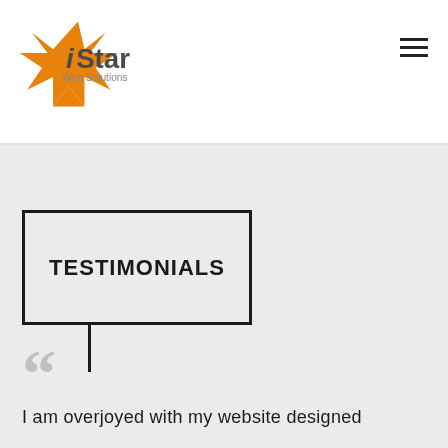iStar Web Solutions
TESTIMONIALS
““
I am overjoyed with my website designed